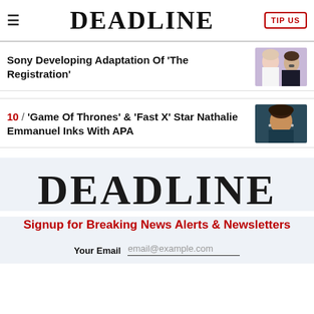DEADLINE | TIP US
Sony Developing Adaptation Of 'The Registration'
10 / 'Game Of Thrones' & 'Fast X' Star Nathalie Emmanuel Inks With APA
[Figure (logo): DEADLINE large logo in newsletter signup section]
Signup for Breaking News Alerts & Newsletters
Your Email  email@example.com